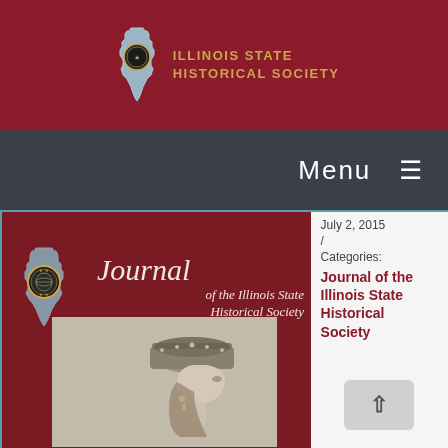[Figure (logo): Illinois State Historical Society logo with Illinois state shape and seal, gold text reading ILLINOIS STATE HISTORICAL SOCIETY on dark red background]
Menu ≡
[Figure (photo): Journal of the Illinois State Historical Society cover image showing a woman in profile wearing an ornate headdress, dark red background with journal title in italic script]
July 2, 2015
/
Categories:
Journal of the Illinois State Historical Society